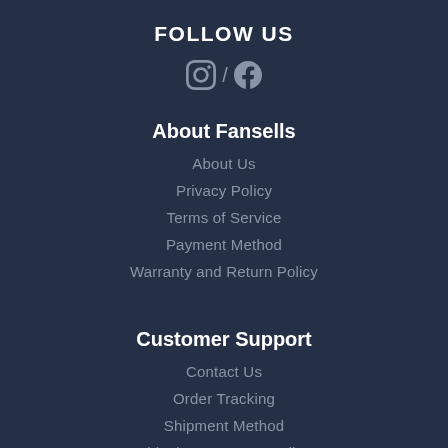FOLLOW US
[Figure (illustration): Instagram and Facebook social media icons with a slash separator]
About Fansells
About Us
Privacy Policy
Terms of Service
Payment Method
Warranty and Return Policy
Customer Support
Contact Us
Order Tracking
Shipment Method
Shipping Gurantee Policy